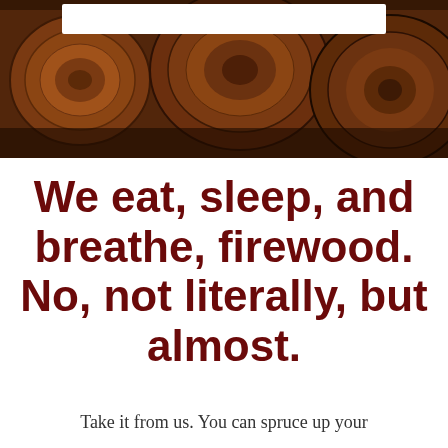[Figure (photo): Dark close-up photograph of stacked firewood logs showing wood grain and texture in brown and dark tones. A white rectangular box overlay appears at the top center of the image.]
We eat, sleep, and breathe, firewood. No, not literally, but almost.
Take it from us. You can spruce up your